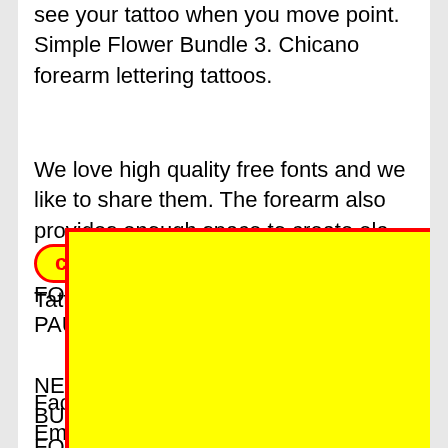see your tattoo when you move point. Simple Flower Bundle 3. Chicano forearm lettering tattoos.
We love high quality free fonts and we like to share them. The forearm also provides enough space to create ela[close]erns and themes. Forearm Tattoo Lettering by Scott Campbell
FOR
PAU                                                      NE
BUT
FOL                                                      ap
Tatto
popu
Face
Email. By dubaddna September 3 2015. Sleeve